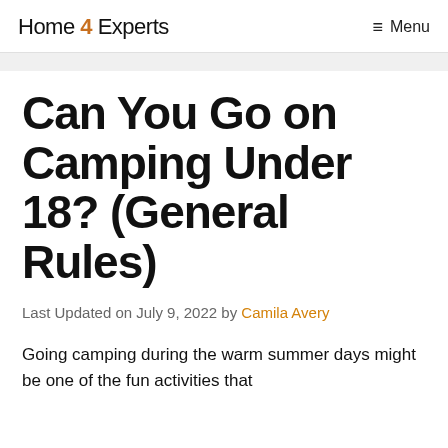Home 4 Experts   Menu
Can You Go on Camping Under 18? (General Rules)
Last Updated on July 9, 2022 by Camila Avery
Going camping during the warm summer days might be one of the fun activities that